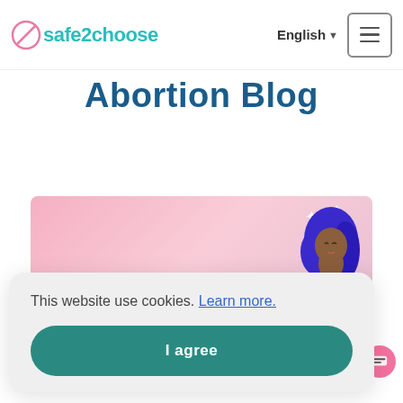safe2choose | English | Menu
Abortion Blog
[Figure (illustration): Blog card image with pink gradient background, illustrated figure of a Black woman with blue hair, text reading 'SELF CARE AFTER' in bold blue italic letters, and sparkle decorations]
This website use cookies. Learn more.
I agree